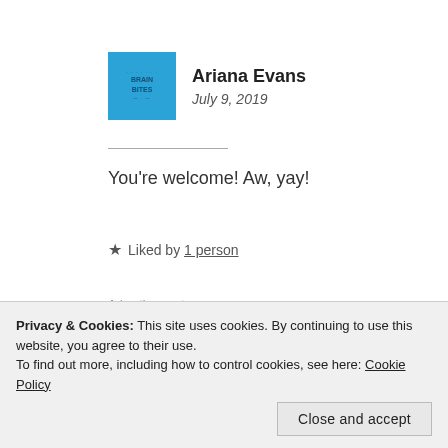[Figure (logo): Blue square avatar with Brain Bites logo text]
Ariana Evans
July 9, 2019
You're welcome! Aw, yay!
★ Liked by 1 person
Advertisements
[Figure (infographic): Blue advertisement banner with text 'Your Journal for life' and phone image]
Privacy & Cookies: This site uses cookies. By continuing to use this website, you agree to their use.
To find out more, including how to control cookies, see here: Cookie Policy
Close and accept